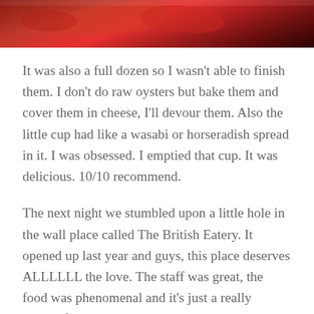[Figure (photo): Close-up photo of food with red/bright coloring, partially cropped at the top of the page]
It was also a full dozen so I wasn't able to finish them. I don't do raw oysters but bake them and cover them in cheese, I'll devour them. Also the little cup had like a wasabi or horseradish spread in it. I was obsessed. I emptied that cup. It was delicious. 10/10 recommend.
The next night we stumbled upon a little hole in the wall place called The British Eatery. It opened up last year and guys, this place deserves ALLLLLL the love. The staff was great, the food was phenomenal and it's just a really wonderful hidden gem. They had a decently sized menu and we all ordered something different. I ordered the Admiral's Pie which was a fun take on a Shepherd's Pie. It was made with seafood instead of the traditional lamb or beef. I'm not even kidding when I say it was baked to perfection